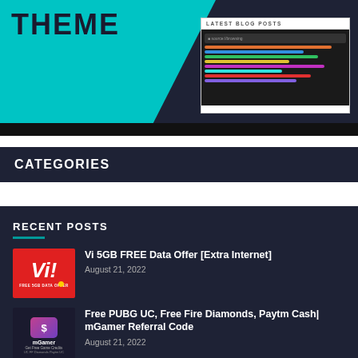[Figure (screenshot): Website theme preview with teal and dark background, showing 'THEME' text and 'LATEST BLOG POSTS' panel with code editor screenshot]
CATEGORIES
RECENT POSTS
[Figure (photo): Vi 5GB FREE Data Offer thumbnail - red background with Vi logo]
Vi 5GB FREE Data Offer [Extra Internet]
August 21, 2022
[Figure (photo): mGamer app icon - purple gradient with S logo, mGamer text, Get Free Game Credits subtitle]
Free PUBG UC, Free Fire Diamonds, Paytm Cash| mGamer Referral Code
August 21, 2022
[Figure (photo): Yellow background thumbnail for Idea Music Lounge app]
Idea Music Lounge App: Download & Get Free